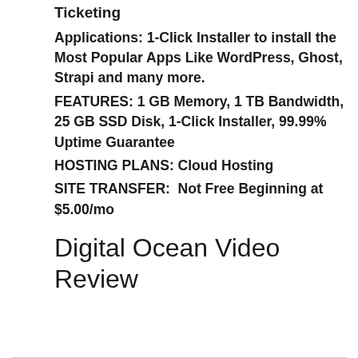Ticketing
Applications: 1-Click Installer to install the Most Popular Apps Like WordPress, Ghost, Strapi and many more.
FEATURES: 1 GB Memory, 1 TB Bandwidth, 25 GB SSD Disk, 1-Click Installer, 99.99% Uptime Guarantee
HOSTING PLANS: Cloud Hosting
SITE TRANSFER:  Not Free Beginning at $5.00/mo
Digital Ocean Video Review